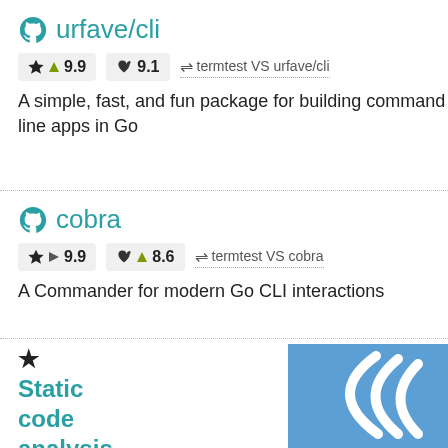urfave/cli
★ ▲ 9.9   ♥ 9.1   ⇌ termtest VS urfave/cli
A simple, fast, and fun package for building command line apps in Go
cobra
★ ▶ 9.9   ♥ ▲ 8.6   ⇌ termtest VS cobra
A Commander for modern Go CLI interactions
★ Static code analysis for 29 languages.
Your projects are multi-language. So is SonarQube analysis. Find Bugs, Vulnerabilities, Security Hotspots, and Code Smells so you can release quality code every time. Get started
[Figure (illustration): Blue square with white curved arc lines suggesting a signal or sonar wave icon]